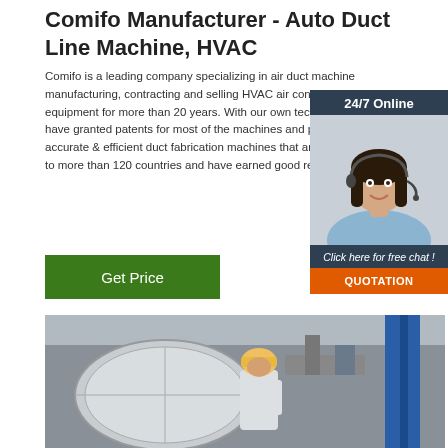Comifo Manufacturer - Auto Duct Line Machine, HVAC
Comifo is a leading company specializing in air duct machine manufacturing, contracting and selling HVAC air conditioning equipment for more than 20 years. With our own technology we have granted patents for most of the machines and provide accurate & efficient duct fabrication machines that are exported to more than 120 countries and have earned good reputation.
[Figure (other): Green 'Get Price' button]
[Figure (other): 24/7 Online chat widget with photo of female customer service agent wearing headset, 'Click here for free chat!' text, and orange QUOTATION button]
[Figure (photo): Factory floor photo showing a worker in white hard hat and work clothes next to large cylindrical industrial equipment (duct/pipe machinery) in a manufacturing facility]